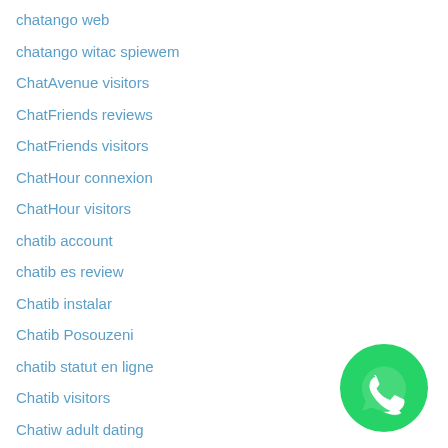chatango web
chatango witac spiewem
ChatAvenue visitors
ChatFriends reviews
ChatFriends visitors
ChatHour connexion
ChatHour visitors
chatib account
chatib es review
Chatib instalar
Chatib Posouzeni
chatib statut en ligne
Chatib visitors
Chatiw adult dating
chatiw chanter
[Figure (logo): WhatsApp green circle logo with phone handset icon in white]